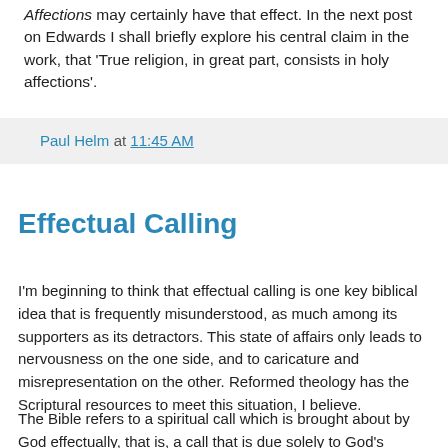Affections may certainly have that effect. In the next post on Edwards I shall briefly explore his central claim in the work, that 'True religion, in great part, consists in holy affections'.
Paul Helm at 11:45 AM
Effectual Calling
I'm beginning to think that effectual calling is one key biblical idea that is frequently misunderstood, as much among its supporters as its detractors. This state of affairs only leads to nervousness on the one side, and to caricature and misrepresentation on the other. Reformed theology has the Scriptural resources to meet this situation, I believe.
The Bible refers to a spiritual call which is brought about by God effectually, that is, a call that is due solely to God's determination to make the change. It sometimes uses the